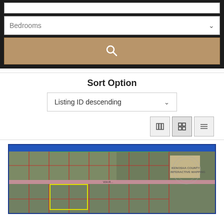[Figure (screenshot): Search panel with Bedrooms dropdown selector and a tan/gold search button with magnifying glass icon on dark background]
Sort Option
[Figure (screenshot): Sort dropdown showing 'Listing ID descending' with print, grid, and list view icon buttons]
[Figure (map): Kenosha County Interactive Mapping aerial satellite map showing residential parcels with red property boundary lines, a yellow highlighted parcel, a pink road, and the Kenosha County Interactive Mapping watermark logo]